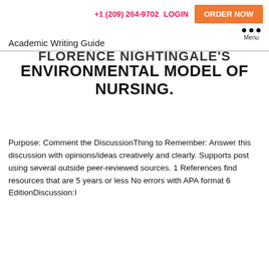+1 (209) 264-9702  LOGIN  ORDER NOW
Academic Writing Guide
FLORENCE NIGHTINGALE'S ENVIRONMENTAL MODEL OF NURSING.
Purpose: Comment the DiscussionThing to Remember: Answer this discussion with opinions/ideas creatively and clearly. Supports post using several outside peer-reviewed sources. 1 References find resources that are 5 years or less No errors with APA format 6 EditionDiscussion:I